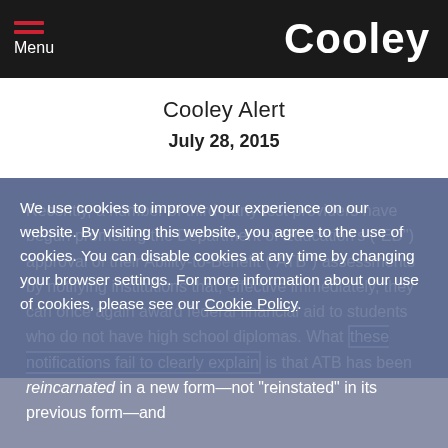Menu | Cooley
Cooley Alert
July 28, 2015
We use cookies to improve your experience on our website. By visiting this website, you agree to the use of cookies. You can disable cookies at any time by changing your browser settings. For more information about our use of cookies, please see our Cookie Policy.
Recently, a number of third-party test providers have begun promoting the Department of Education's ("ED") approval of their Ability-to-Benefit ("ATB") assessments by notifying institutions that, effective immediately, they can once again award federal financial aid to students who do not have high school diplomas. What these notifications fail to clearly explain is that ATB has been reincarnated in a new form—not "reinstated" in its previous form—and